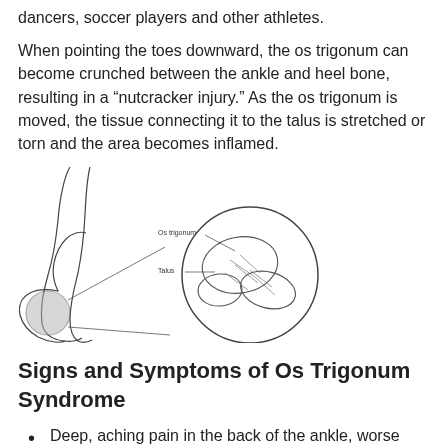dancers, soccer players and other athletes.
When pointing the toes downward, the os trigonum can become crunched between the ankle and heel bone, resulting in a “nutcracker injury.” As the os trigonum is moved, the tissue connecting it to the talus is stretched or torn and the area becomes inflamed.
[Figure (illustration): Medical illustration of a foot/ankle showing the os trigonum bone highlighted with a circle and magnified inset diagram. Labels on the illustration indicate 'Os trigonum' and 'Talus'.]
Signs and Symptoms of Os Trigonum Syndrome
Deep, aching pain in the back of the ankle, worse when